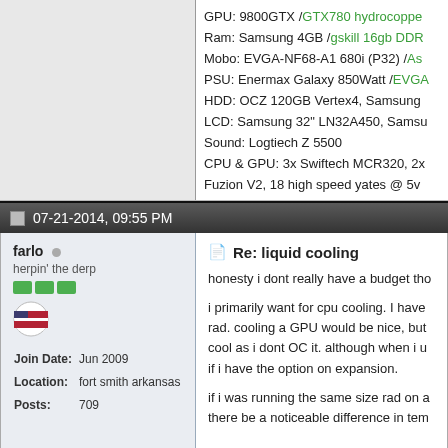GPU: 9800GTX /GTX780 hydrocoppe...
Ram: Samsung 4GB /gskill 16gb DDR...
Mobo: EVGA-NF68-A1 680i (P32) /As...
PSU: Enermax Galaxy 850Watt /EVG...
HDD: OCZ 120GB Vertex4, Samsung...
LCD: Samsung 32" LN32A450, Samsu...
Sound: Logtiech Z 5500
CPU & GPU: 3x Swiftech MCR320, 2x...
Fuzion V2, 18 high speed yates @ 5v...
07-21-2014, 09:55 PM
farlo
herpin' the derp
| Join Date: | Jun 2009 |
| Location: | fort smith arkansas |
| Posts: | 709 |
Re: liquid cooling
honesty i dont really have a budget tho...
i primarily want for cpu cooling. I have... rad. cooling a GPU would be nice, but... cool as i dont OC it. although when i u... if i have the option on expansion.
if i was running the same size rad on a... there be a noticeable difference in tem...